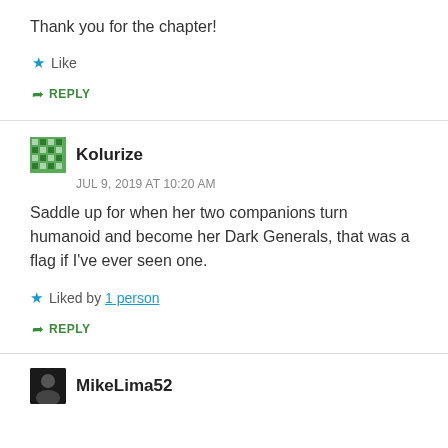Thank you for the chapter!
Like
REPLY
Kolurize
JUL 9, 2019 AT 10:20 AM
Saddle up for when her two companions turn humanoid and become her Dark Generals, that was a flag if I've ever seen one.
Liked by 1 person
REPLY
MikeLima52